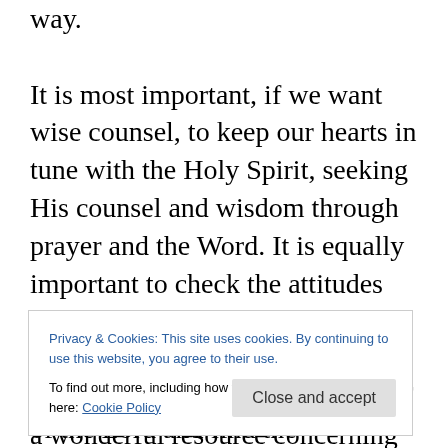way.

It is most important, if we want wise counsel, to keep our hearts in tune with the Holy Spirit, seeking His counsel and wisdom through prayer and the Word. It is equally important to check the attitudes and the condition of our heart and motives to be sure they are pure and submitted to Him. Proverbs is a wonderful resource concerning the wisdom, understanding, knowledge and counsel of the Lord. Let's conclude with a passage from Proverbs 2:1-8 “My son, if you accept my words and store up my commands within you,
Privacy & Cookies: This site uses cookies. By continuing to use this website, you agree to their use.
To find out more, including how to control cookies, see here: Cookie Policy
Close and accept
5then you will understand the fear of the Lord and find the